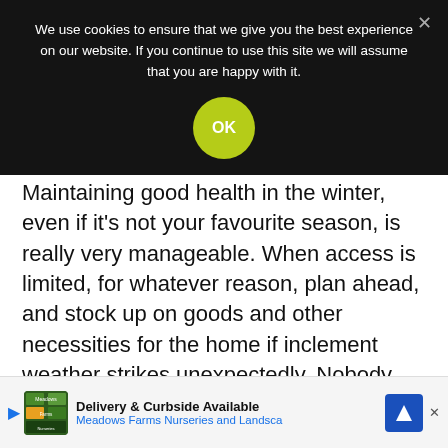We use cookies to ensure that we give you the best experience on our website. If you continue to use this site we will assume that you are happy with it.
Maintaining good health in the winter, even if it's not your favourite season, is really very manageable. When access is limited, for whatever reason, plan ahead, and stock up on goods and other necessities for the home if inclement weather strikes unexpectedly. Nobody wants to wait on a long queue at the grocery store the night before a major sno...
Delivery & Curbside Available Meadows Farms Nurseries and Landsca